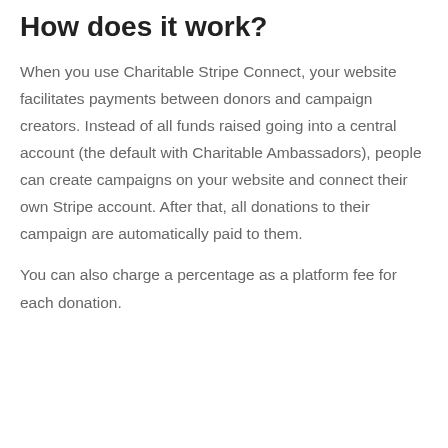How does it work?
When you use Charitable Stripe Connect, your website facilitates payments between donors and campaign creators. Instead of all funds raised going into a central account (the default with Charitable Ambassadors), people can create campaigns on your website and connect their own Stripe account. After that, all donations to their campaign are automatically paid to them.
You can also charge a percentage as a platform fee for each donation.